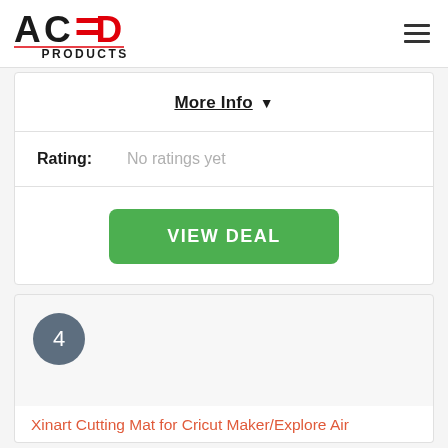ACED PRODUCTS
More Info ▼
Rating: No ratings yet
VIEW DEAL
4
Xinart Cutting Mat for Cricut Maker/Explore Air